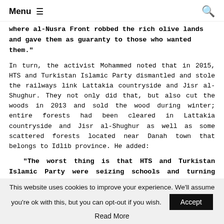Menu ☰
where al-Nusra Front robbed the rich olive lands and gave them as guaranty to those who wanted them."
In turn, the activist Mohammed noted that in 2015, HTS and Turkistan Islamic Party dismantled and stole the railways link Lattakia countryside and Jisr al-Shughur. They not only did that, but also cut the woods in 2013 and sold the wood during winter; entire forests had been cleared in Lattakia countryside and Jisr al-Shughur as well as some scattered forests located near Danah town that belongs to Idlib province. He added:
"The worst thing is that HTS and Turkistan Islamic Party were seizing schools and turning them into their own jails either in Jisr
This website uses cookies to improve your experience. We'll assume you're ok with this, but you can opt-out if you wish.
Read More